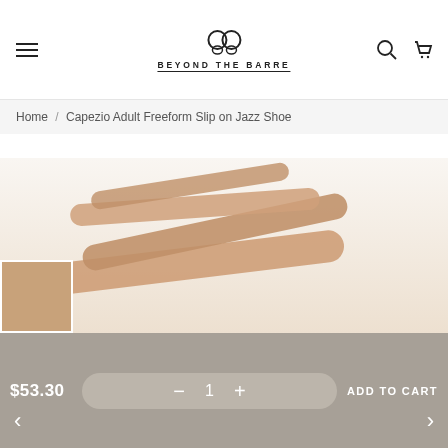Beyond The Barre
Home / Capezio Adult Freeform Slip on Jazz Shoe
[Figure (photo): Product photo of a Capezio Adult Freeform Slip on Jazz Shoe in nude/tan color, showing elastic straps crossing the foot. A small thumbnail of the shoe appears in the bottom-left corner.]
$53.30  −  1  +  ADD TO CART